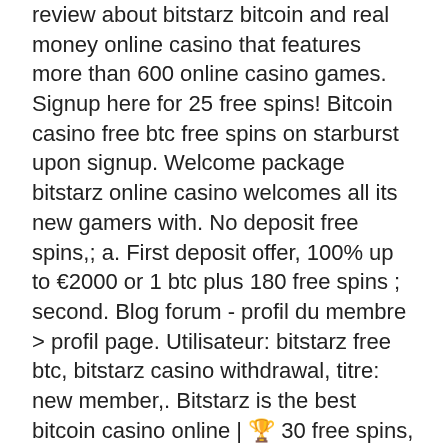review about bitstarz bitcoin and real money online casino that features more than 600 online casino games. Signup here for 25 free spins! Bitcoin casino free btc free spins on starburst upon signup. Welcome package bitstarz online casino welcomes all its new gamers with. No deposit free spins,; a. First deposit offer, 100% up to €2000 or 1 btc plus 180 free spins ; second. Blog forum - profil du membre &gt; profil page. Utilisateur: bitstarz free btc, bitstarz casino withdrawal, titre: new member,. Bitstarz is the best bitcoin casino online | 🏆 30 free spins, no deposit required | 3200 casino games | ⚡ fast withdrawals. It underpins every spread betting account and you cannot spread trade without it, bitstarz free chip. When you make the second deposit, you will get 50% which is up to 1 btc and otherwise known as It's quite fascinating and, in a nutshell, it shows the